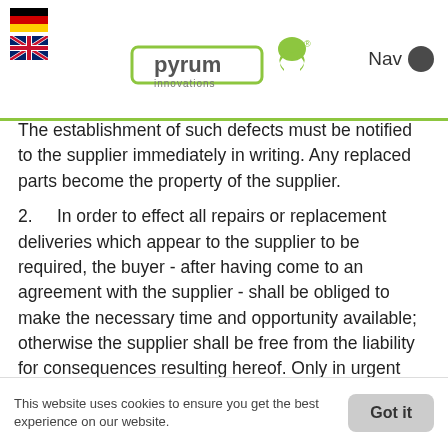[Figure (logo): Pyrum Innovations logo with recycling icon in green and company name]
The establishment of such defects must be notified to the supplier immediately in writing. Any replaced parts become the property of the supplier.
2.     In order to effect all repairs or replacement deliveries which appear to the supplier to be required, the buyer - after having come to an agreement with the supplier - shall be obliged to make the necessary time and opportunity available; otherwise the supplier shall be free from the liability for consequences resulting hereof. Only in urgent cases where operational safety is in danger and in order to avoid disproportionately large damages, and in such cases the supplier
This website uses cookies to ensure you get the best experience on our website.